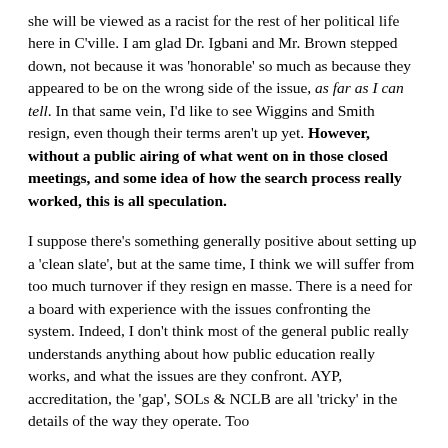she will be viewed as a racist for the rest of her political life here in C'ville. I am glad Dr. Igbani and Mr. Brown stepped down, not because it was 'honorable' so much as because they appeared to be on the wrong side of the issue, as far as I can tell. In that same vein, I'd like to see Wiggins and Smith resign, even though their terms aren't up yet. However, without a public airing of what went on in those closed meetings, and some idea of how the search process really worked, this is all speculation.
I suppose there's something generally positive about setting up a 'clean slate', but at the same time, I think we will suffer from too much turnover if they resign en masse. There is a need for a board with experience with the issues confronting the system. Indeed, I don't think most of the general public really understands anything about how public education really works, and what the issues are they confront. AYP, accreditation, the 'gap', SOLs & NCLB are all 'tricky' in the details of the way they operate. Too